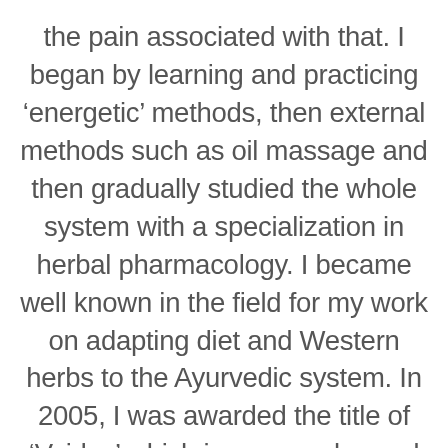the pain associated with that. I began by learning and practicing ‘energetic’ methods, then external methods such as oil massage and then gradually studied the whole system with a specialization in herbal pharmacology. I became well known in the field for my work on adapting diet and Western herbs to the Ayurvedic system. In 2005, I was awarded the title of ‘Vaidya’ which is commonly used instead of the term ‘doctor’ for traditional practitioners of Ayurvedic medicine